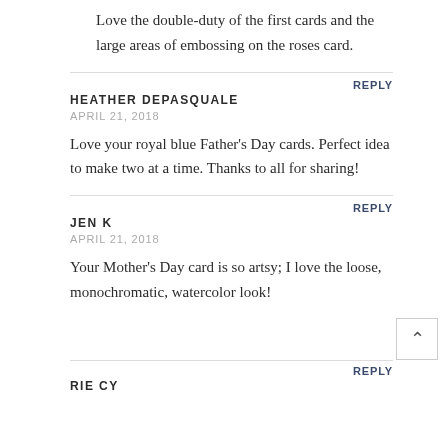Love the double-duty of the first cards and the large areas of embossing on the roses card.
REPLY
HEATHER DEPASQUALE
APRIL 21, 2018
Love your royal blue Father’s Day cards. Perfect idea to make two at a time. Thanks to all for sharing!
REPLY
JEN K
APRIL 21, 2018
Your Mother’s Day card is so artsy; I love the loose, monochromatic, watercolor look!
REPLY
RIE CY